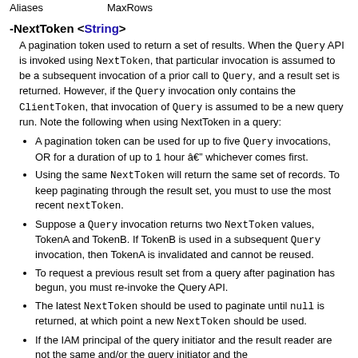| Aliases | MaxRows |
-NextToken <String>
A pagination token used to return a set of results. When the Query API is invoked using NextToken, that particular invocation is assumed to be a subsequent invocation of a prior call to Query, and a result set is returned. However, if the Query invocation only contains the ClientToken, that invocation of Query is assumed to be a new query run. Note the following when using NextToken in a query:
A pagination token can be used for up to five Query invocations, OR for a duration of up to 1 hour â€” whichever comes first.
Using the same NextToken will return the same set of records. To keep paginating through the result set, you must to use the most recent nextToken.
Suppose a Query invocation returns two NextToken values, TokenA and TokenB. If TokenB is used in a subsequent Query invocation, then TokenA is invalidated and cannot be reused.
To request a previous result set from a query after pagination has begun, you must re-invoke the Query API.
The latest NextToken should be used to paginate until null is returned, at which point a new NextToken should be used.
If the IAM principal of the query initiator and the result reader are not the same and/or the query initiator and the